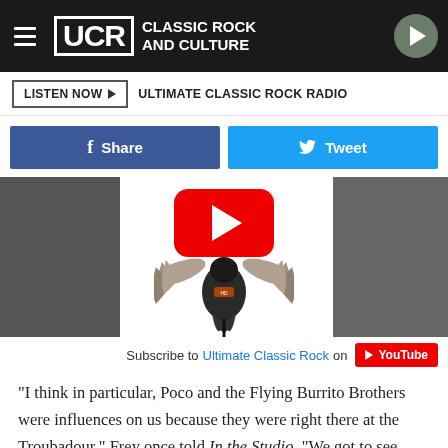UCR CLASSIC ROCK AND CULTURE
LISTEN NOW ▶  ULTIMATE CLASSIC ROCK RADIO
Share  Tweet
[Figure (screenshot): YouTube video player thumbnail showing a dark bird/eagle figure with spread wings, with a large red YouTube play button overlay]
Subscribe to Ultimate Classic Rock on YouTube
"I think in particular, Poco and the Flying Burrito Brothers were influences on us because they were right there at the Troubadour," Frey once told In the Studio. "We got to see them and ..."